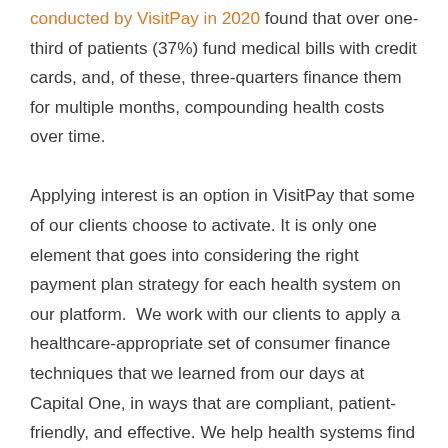conducted by VisitPay in 2020 found that over one-third of patients (37%) fund medical bills with credit cards, and, of these, three-quarters finance them for multiple months, compounding health costs over time.

Applying interest is an option in VisitPay that some of our clients choose to activate. It is only one element that goes into considering the right payment plan strategy for each health system on our platform.  We work with our clients to apply a healthcare-appropriate set of consumer finance techniques that we learned from our days at Capital One, in ways that are compliant, patient-friendly, and effective. We help health systems find the right approach, which may include discounts or extended low-interest plans, or payment holidays for patients that need it. And we help our partners find the right balance